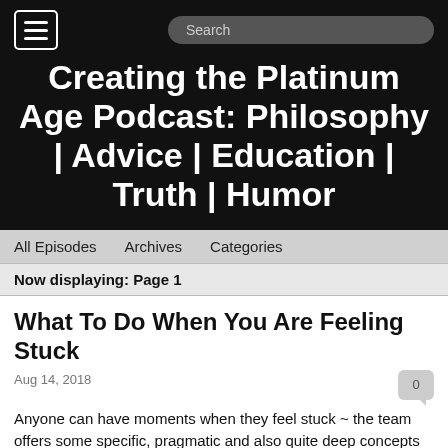Creating the Platinum Age Podcast: Philosophy | Advice | Education | Truth | Humor
All Episodes   Archives   Categories
Now displaying: Page 1
What To Do When You Are Feeling Stuck
Aug 14, 2018
Anyone can have moments when they feel stuck ~ the team offers some specific, pragmatic and also quite deep concepts for getting unstuck, from whatever has you in its grips. Enlightenment teachings for expanding your consciousness, keeping it real and supporting you in being your best self.
Sending love,
Jill
Jill Renee Fealser invites us into not just another dimension of ourselves, but